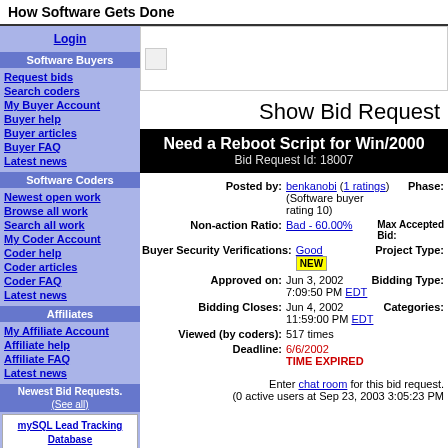How Software Gets Done
Login
Software Buyers
Request bids
Search coders
My Buyer Account
Buyer help
Buyer articles
Buyer FAQ
Latest news
Software Coders
Newest open work
Browse all work
Search all work
My Coder Account
Coder help
Coder articles
Coder FAQ
Latest news
Affiliates
My Affiliate Account
Affiliate help
Affiliate FAQ
Latest news
Newest Bid Requests. (See all)
mySQL Lead Tracking Database
By bkleinhe on Sep 23
Max Bid: $300
System Snapshot Utility (repost)
Show Bid Request
Need a Reboot Script for Win/2000
Bid Request Id: 18007
Posted by: benkanobi (1 ratings) (Software buyer rating 10)
Phase:
Non-action Ratio: Bad - 60.00%
Max Accepted Bid:
Buyer Security Verifications: Good NEW
Project Type:
Approved on: Jun 3, 2002 7:09:50 PM EDT
Bidding Type:
Bidding Closes: Jun 4, 2002 11:59:00 PM EDT
Categories:
Viewed (by coders): 517 times
Deadline: 6/6/2002 TIME EXPIRED
Enter chat room for this bid request. (0 active users at Sep 23, 2003 3:05:23 PM